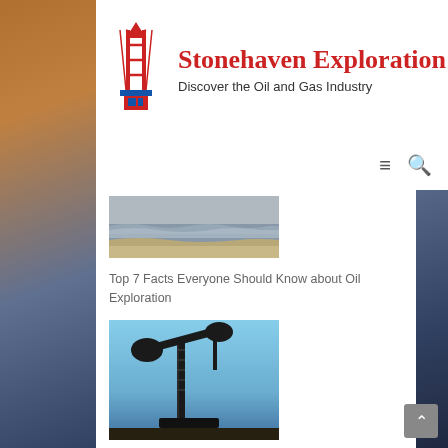[Figure (logo): Stonehaven Exploration logo with oil rig icon in red/blue colors]
Stonehaven Exploration
Discover the Oil and Gas Industry
[Figure (photo): Beach/ocean waves photograph, sandy shore with waves]
Top 7 Facts Everyone Should Know about Oil Exploration
[Figure (photo): Oil pump jack silhouette against blue sky]